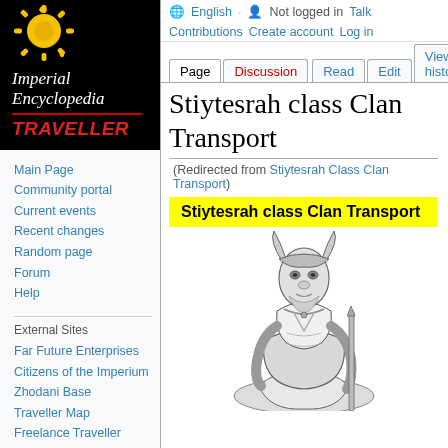[Figure (logo): Imperial Encyclopedia Traveller logo: black background with yellow sun gear icon, white italic text 'Imperial Encyclopedia', red bold italic 'TRAVELLER' with red underline]
Main Page
Community portal
Current events
Recent changes
Random page
Forum
Help
External Sites
Far Future Enterprises
Citizens of the Imperium
Zhodani Base
Traveller Map
Freelance Traveller
🌐 English  👤 Not logged in  Talk  Contributions  Create account  Log in
Stiytesrah class Clan Transport
(Redirected from Stiytesrah Class Clan Transport)
Stiytesrah class Clan Transport
[Figure (illustration): Black and white illustration of an alien humanoid figure (Aslan or similar) wearing robes and headdress, holding a staff, facing forward]